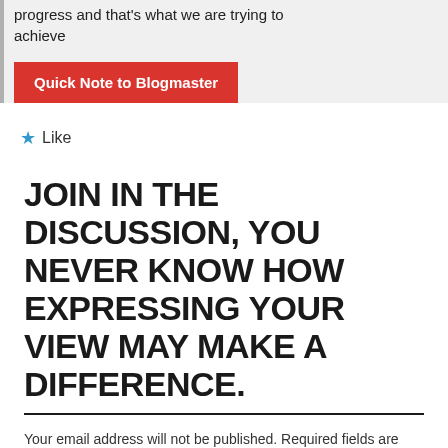progress and that's what we are trying to achieve
Quick Note to Blogmaster
Like
JOIN IN THE DISCUSSION, YOU NEVER KNOW HOW EXPRESSING YOUR VIEW MAY MAKE A DIFFERENCE.
Your email address will not be published. Required fields are marked *
Comment *